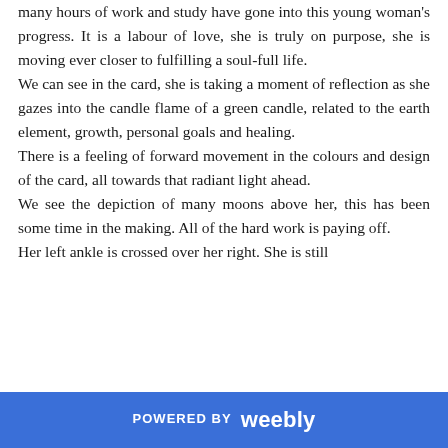many hours of work and study have gone into this young woman's progress. It is a labour of love, she is truly on purpose, she is moving ever closer to fulfilling a soul-full life.
We can see in the card, she is taking a moment of reflection as she gazes into the candle flame of a green candle, related to the earth element, growth, personal goals and healing.
There is a feeling of forward movement in the colours and design of the card, all towards that radiant light ahead.
We see the depiction of many moons above her, this has been some time in the making. All of the hard work is paying off.
Her left ankle is crossed over her right. She is still
POWERED BY weebly